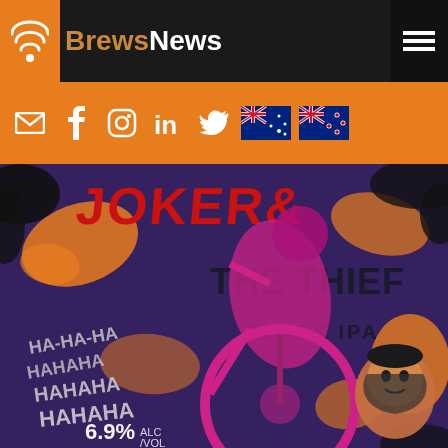BrewsNews
[Figure (logo): BrewsNews website header with logo icon (wifi/signal symbol) on orange background, BrewsNews text logo, and hamburger menu icon on black background]
[Figure (infographic): Orange social media bar with icons for email, Facebook, Instagram, LinkedIn, Twitter, Australian flag, New Zealand flag]
[Figure (illustration): Beer label artwork: Joker & The Thief Black IPA label showing a motocross rider on a purple/dark background with orange paint splashes, graffiti text saying HAHAHA, 6.9% ALC/VOL, and a cartoon villain character. Bold red text reads JOKER & and THE THIEF, smaller text reads BLACK IPA.]